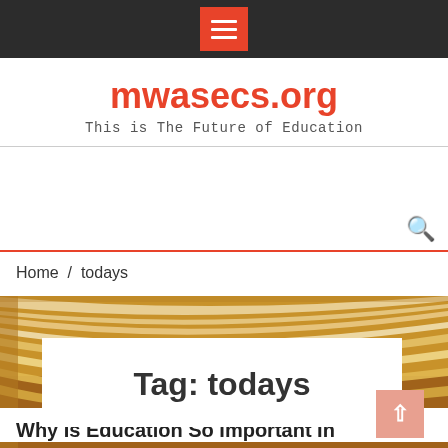[Figure (screenshot): Dark navigation bar with hamburger menu icon (three white lines) on an orange-red square button]
mwasecs.org
This is The Future of Education
Home  /  todays
[Figure (photo): Close-up photo of open books with fanned pages visible]
Tag: todays
Why Is Education So Important In